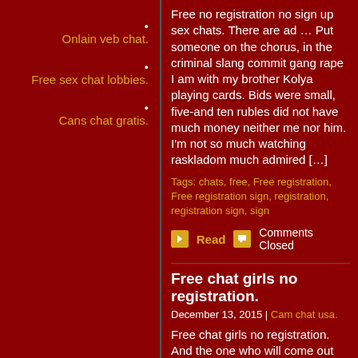Onlain veb chat.
Free sex chat lobbies.
Cans chat gratis.
Free no registration no sign up sex chats. There are ad … Put someone on the chorus, in the criminal slang commit gang rape I am with my brother Kolya playing cards. Bids were small, five-and ten rubles did not have much money neither me nor him. I'm not so much watching raskladom much admired […]
Tags: chats, free, Free registration, Free registration sign, registration, registration sign, sign
Read   Comments Closed
Free chat girls no registration.
December 13, 2015 | Cam chat usa.
Free chat girls no registration. And the one who will come out too. Here Daria heard the sound of a door opening. It was the door of their apartment. I heard voices. Brother and father were going to go to the garage. – If you now have somebody